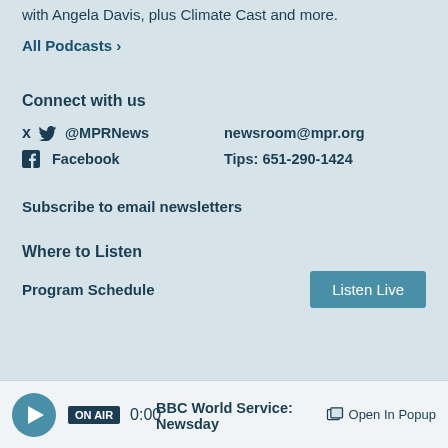with Angela Davis, plus Climate Cast and more.
All Podcasts ›
Connect with us
@MPRNews
newsroom@mpr.org
Facebook
Tips: 651-290-1424
Subscribe to email newsletters
Where to Listen
Program Schedule
Listen Live
ON AIR  0:00  BBC World Service: Newsday  Open In Popup